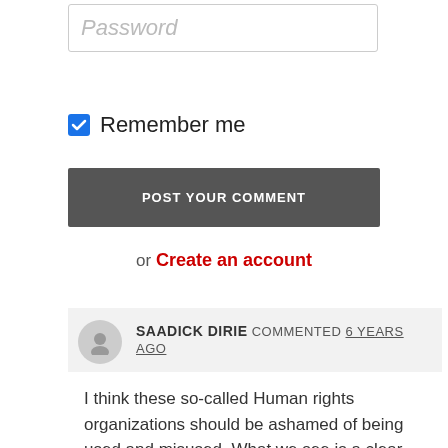Password
Remember me
POST YOUR COMMENT
or Create an account
SAADICK DIRIE COMMENTED 6 YEARS AGO
I think these so-called Human rights organizations should be ashamed of being used and misused. What we see is a clear case of double standards. If genuinely why did Aljazeera journalists spent hundreds of days in egyptian jail? In my opinion they are rotten to the core. They should operate